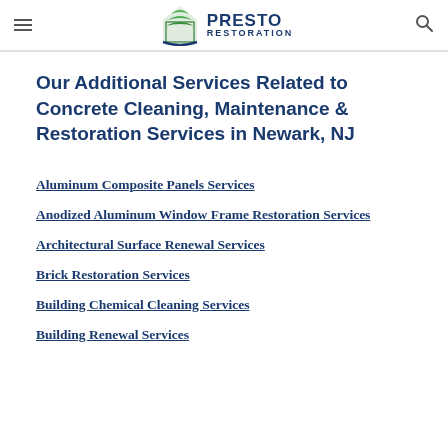Presto Restoration
Our Additional Services Related to Concrete Cleaning, Maintenance & Restoration Services in Newark, NJ
Aluminum Composite Panels Services
Anodized Aluminum Window Frame Restoration Services
Architectural Surface Renewal Services
Brick Restoration Services
Building Chemical Cleaning Services
Building Renewal Services